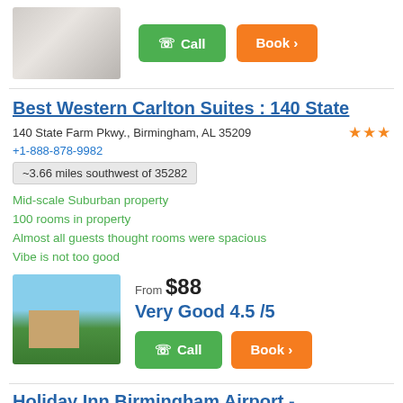[Figure (photo): Photo of person writing, shown partially, with Call and Book buttons beside it]
Call
Book >
Best Western Carlton Suites : 140 State
140 State Farm Pkwy., Birmingham, AL 35209
+1-888-878-9982
~3.66 miles southwest of 35282
Mid-scale Suburban property
100 rooms in property
Almost all guests thought rooms were spacious
Vibe is not too good
[Figure (photo): Hotel exterior photo showing Best Western Carlton Suites building with parking lot and trees]
From $88
Very Good 4.5 /5
Call
Book >
Holiday Inn Birmingham Airport -
5000 Richard Arrington Jr Blvd. North, Birmingham, AL